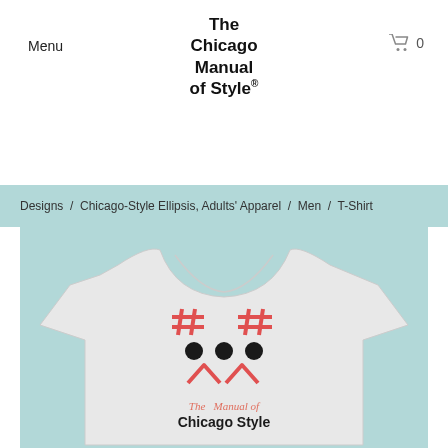Menu   The Chicago Manual of Style®   0
Designs / Chicago-Style Ellipsis, Adults' Apparel / Men / T-Shirt
[Figure (photo): A light grey heather t-shirt displayed on a white background. The shirt has a graphic of two red hash symbols (#) at top, three black dots arranged horizontally below (resembling an ellipsis), and two red carets (^^) below those — together forming a Chicago-style ellipsis face. Below the graphic is text reading 'The Manual of Chicago Style' in a combination of salmon/red script and bold black serif type.]